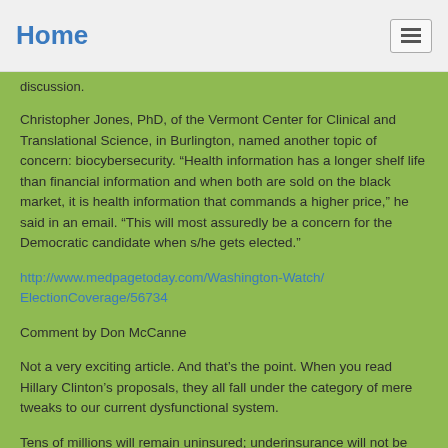Home
discussion.
Christopher Jones, PhD, of the Vermont Center for Clinical and Translational Science, in Burlington, named another topic of concern: biocybersecurity. “Health information has a longer shelf life than financial information and when both are sold on the black market, it is health information that commands a higher price,” he said in an email. “This will most assuredly be a concern for the Democratic candidate when s/he gets elected.”
http://www.medpagetoday.com/Washington-Watch/ElectionCoverage/56734
Comment by Don McCanne
Not a very exciting article. And that’s the point. When you read Hillary Clinton’s proposals, they all fall under the category of mere tweaks to our current dysfunctional system.
Tens of millions will remain uninsured; underinsurance will not be eliminated; Medicaid would be expanded without addressing its